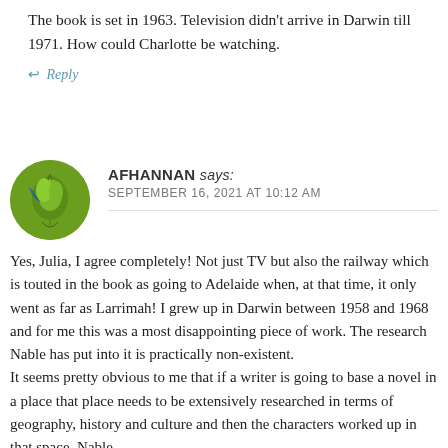The book is set in 1963. Television didn't arrive in Darwin till 1971. How could Charlotte be watching.
↩ Reply
AFHANNAN says: SEPTEMBER 16, 2021 AT 10:12 AM
Yes, Julia, I agree completely! Not just TV but also the railway which is touted in the book as going to Adelaide when, at that time, it only went as far as Larrimah! I grew up in Darwin between 1958 and 1968 and for me this was a most disappointing piece of work. The research Nable has put into it is practically non-existent.
It seems pretty obvious to me that if a writer is going to base a novel in a place that place needs to be extensively researched in terms of geography, history and culture and then the characters worked up in that space. Nable